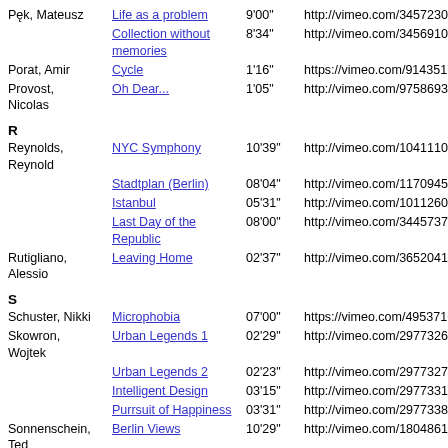| Author | Title | Duration | URL |
| --- | --- | --- | --- |
| Pęk, Mateusz | Life as a problem | 9'00" | http://vimeo.com/34572306 |
|  | Collection without memories | 8'34" | http://vimeo.com/34569107 |
| Porat, Amir | Cycle | 1'16" | https://vimeo.com/91435179 |
| Provost, Nicolas | Oh Dear... | 1'05" | http://vimeo.com/9758693 |
R
| Author | Title | Duration | URL |
| --- | --- | --- | --- |
| Reynolds, Reynold | NYC Symphony | 10'39" | http://vimeo.com/10411101 |
|  | Stadtplan (Berlin) | 08'04" | http://vimeo.com/11709458 |
|  | Istanbul | 05'31" | http://vimeo.com/10112605 |
|  | Last Day of the Republic | 08'00" | http://vimeo.com/34457379 |
| Rutigliano, Alessio | Leaving Home | 02'37" | http://vimeo.com/36520418 |
S
| Author | Title | Duration | URL |
| --- | --- | --- | --- |
| Schuster, Nikki | Microphobia | 07'00" | https://vimeo.com/49537161 |
| Skowron, Wojtek | Urban Legends 1 | 02'29" | http://vimeo.com/29773266 |
|  | Urban Legends 2 | 02'23" | http://vimeo.com/29773279 |
|  | Intelligent Design | 03'15" | http://vimeo.com/29773312 |
|  | Purrsuit of Happiness | 03'31" | http://vimeo.com/29773383 |
| Sonnenschein, Ted | Berlin Views | 10'29" | http://vimeo.com/18048615 |
|  | Five Berlin Views | 10'28" | http://vimeo.com/29742276 |
T
| Author | Title | Duration | URL |
| --- | --- | --- | --- |
| Tarre, Alfredo | The Eye | 11'25" | http://vimeo.com/27404896 |
| Trierweiler, | Hardest Heart | 4'15" | http://vimeo.com/9759903 |